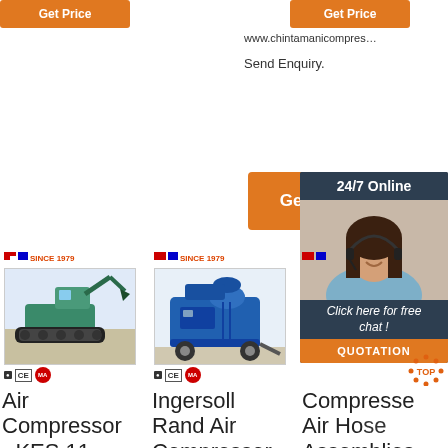[Figure (screenshot): Orange Get Price button (top left)]
[Figure (screenshot): Orange Get Price button (top right)]
www.chintamanicompres...
Send Enquiry.
[Figure (screenshot): Orange Get Price button (middle center)]
[Figure (screenshot): 24/7 Online panel with chat agent photo and QUOTATION button]
[Figure (photo): Air Compressor product image - excavator/crawler machine, blue-green color]
[Figure (logo): Brand logo with flags, SINCE 1979]
CE certification marks
Air Compressor - KES 11-7.5
[Figure (photo): Ingersoll Rand Air Compressor product image - blue machine on wheels]
[Figure (logo): Brand logo with flags, SINCE 1979]
CE certification marks
Ingersoll Rand Air Compressor - IR Air
Compressed Air Hose Assemblies : Hoses
[Figure (logo): TOP scroll-to-top orange dot icon]